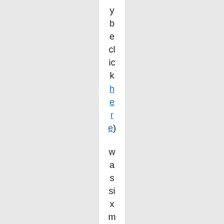y b e cl ic k here) was six months or better ba